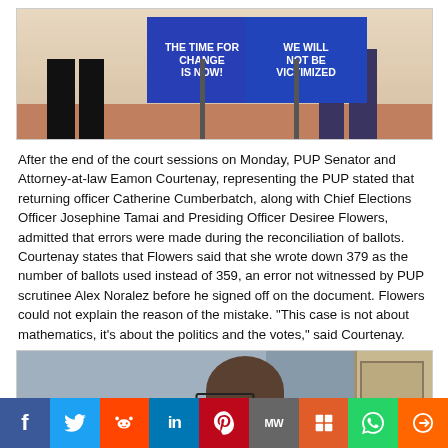[Figure (photo): People holding protest signs reading 'THE TIME FOR CHANGE IS NOW!' and 'WE WILL NOT BE VICTIMIZED' outdoors on a brick-paved area]
After the end of the court sessions on Monday, PUP Senator and Attorney-at-law Eamon Courtenay, representing the PUP stated that returning officer Catherine Cumberbatch, along with Chief Elections Officer Josephine Tamai and Presiding Officer Desiree Flowers, admitted that errors were made during the reconciliation of ballots. Courtenay states that Flowers said that she wrote down 379 as the number of ballots used instead of 359, an error not witnessed by PUP scrutinee Alex Noralez before he signed off on the document. Flowers could not explain the reason of the mistake. "This case is not about mathematics, it's about the politics and the votes," said Courtenay.
[Figure (photo): Close-up photo of a man with glasses, partially visible, near a door]
f  Twitter  Reddit  in  Pinterest  MW  Mix  WhatsApp  Share